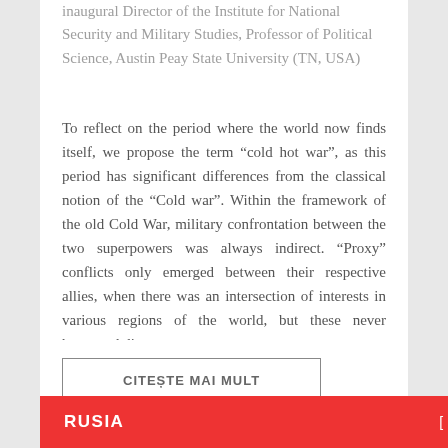inaugural Director of the Institute for National Security and Military Studies, Professor of Political Science, Austin Peay State University (TN, USA)
To reflect on the period where the world now finds itself, we propose the term “cold hot war”, as this period has significant differences from the classical notion of the “Cold war”. Within the framework of the old Cold War, military confrontation between the two superpowers was always indirect. “Proxy” conflicts only emerged between their respective allies, when there was an intersection of interests in various regions of the world, but these never happened direc
CITEȘTE MAI MULT
RUSIA
[ VIEW ALL ]